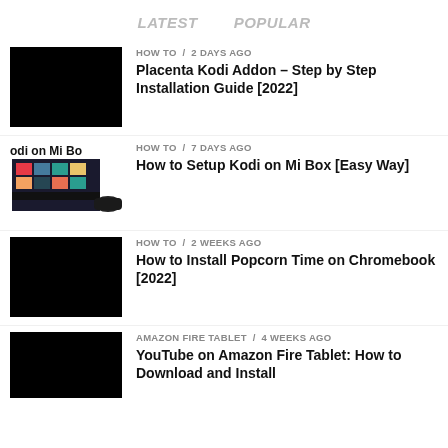LATEST   POPULAR
[Figure (screenshot): Black thumbnail image for Placenta Kodi Addon article]
HOW TO / 2 days ago
Placenta Kodi Addon – Step by Step Installation Guide [2022]
[Figure (screenshot): Thumbnail showing Kodi on Mi Box with colorful interface and Mi Box device]
HOW TO / 7 days ago
How to Setup Kodi on Mi Box [Easy Way]
[Figure (screenshot): Black thumbnail image for Popcorn Time on Chromebook article]
HOW TO / 2 weeks ago
How to Install Popcorn Time on Chromebook [2022]
[Figure (screenshot): Black thumbnail image for YouTube on Amazon Fire Tablet article]
AMAZON FIRE TABLET / 4 weeks ago
YouTube on Amazon Fire Tablet: How to Download and Install...